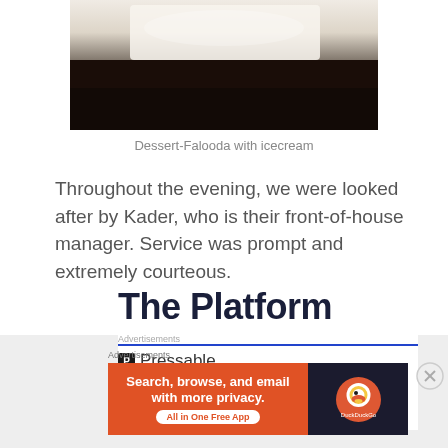[Figure (photo): Partial view of dessert Falooda with icecream on a dark wooden surface]
Dessert-Falooda with icecream
Throughout the evening, we were looked after by Kader, who is their front-of-house manager. Service was prompt and extremely courteous.
[Figure (screenshot): Pressable advertisement with logo and dots]
The Platform
[Figure (screenshot): DuckDuckGo advertisement banner: Search, browse, and email with more privacy. All in One Free App]